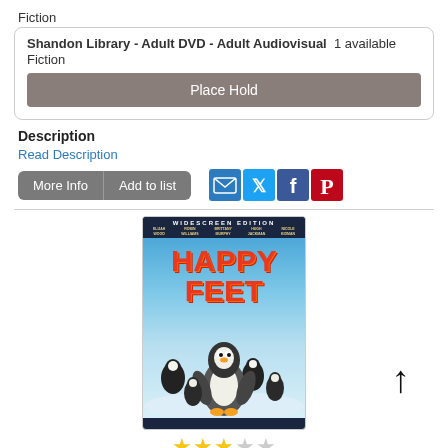Fiction
Shandon Library - Adult DVD - Adult Audiovisual  1 available
Fiction
Place Hold
Description
Read Description
More Info  |  Add to list
[Figure (illustration): Happy Feet DVD cover - Widescreen Edition showing animated penguins with the title HAPPY FEET in large orange-red text. Cast listed: Elijah Wood, Robin Williams, Brittany Murphy, Hugh Jackman, Nicole Kidman.]
3 out of 5 stars (3 filled, 2 empty)